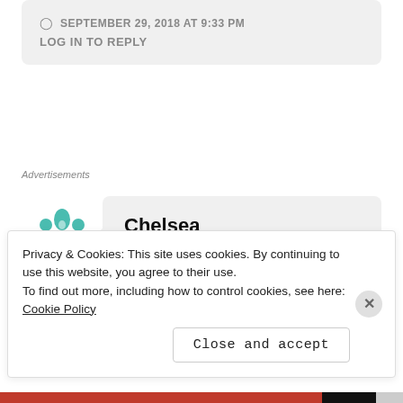SEPTEMBER 29, 2018 AT 9:33 PM
LOG IN TO REPLY
Advertisements
[Figure (logo): Teal geometric floral/cross pattern avatar icon for user Chelsea]
Chelsea
Privacy & Cookies: This site uses cookies. By continuing to use this website, you agree to their use.
To find out more, including how to control cookies, see here: Cookie Policy
Close and accept